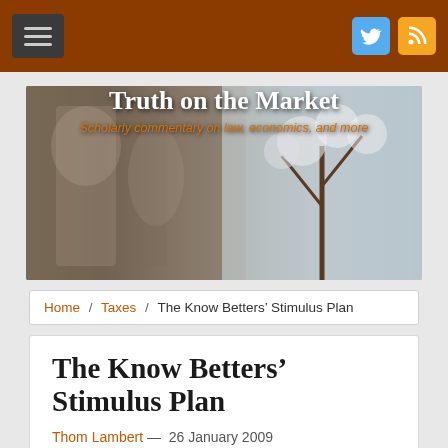Truth on the Market — navigation bar with menu, Twitter, and RSS icons
[Figure (photo): Banner image showing stone statues and cherry blossom tree with 'Truth on the Market' title and subtitle 'Scholarly commentary on law, economics, and more']
Home / Taxes / The Know Betters' Stimulus Plan
The Know Betters' Stimulus Plan
Thom Lambert — 26 January 2009
National Economic Council Chairman Larry Summers was on Meet the Press yesterday defending President Obama's proposed fiscal stimulus plan, which is heavily weighted toward government spending and away from tax cuts (and, to the extent it reduces taxes, does so via tax credits without cutting marginal rates). He started by emphasizing the magnitude of